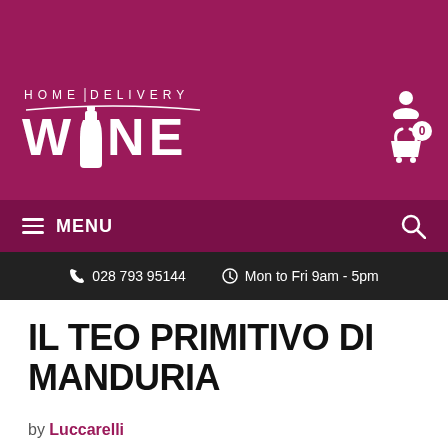[Figure (logo): Home Delivery Wine logo on purple background with wine bottle icon, shopping basket and user account icons]
≡ MENU
028 793 95144   Mon to Fri 9am - 5pm
IL TEO PRIMITIVO DI MANDURIA
by Luccarelli
Country: Italy
Availability: Many in stock